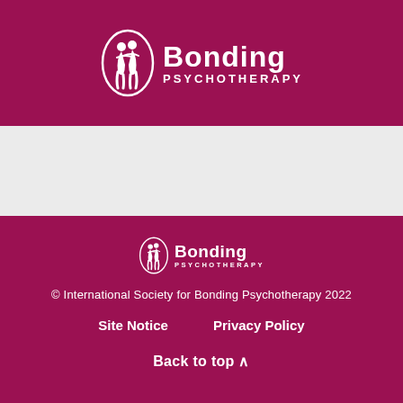Bonding PSYCHOTHERAPY
[Figure (logo): Bonding Psychotherapy logo with two figures embracing inside an oval, large version in header]
[Figure (logo): Bonding Psychotherapy logo with two figures embracing inside an oval, small version in footer]
© International Society for Bonding Psychotherapy 2022
Site Notice
Privacy Policy
Back to top ∧